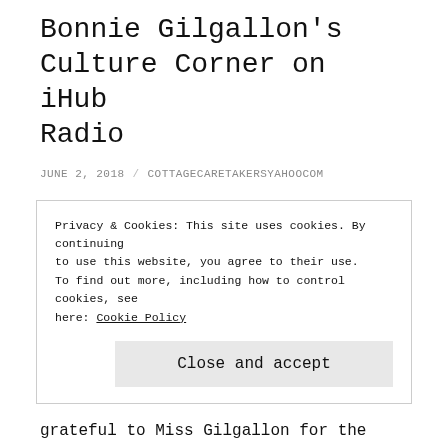The Brannan Sisters on Bonnie Gilgallon's Culture Corner on iHub Radio
JUNE 2, 2018 / COTTAGECARETAKERSYAHOOCOM
Tomorrow, Rebekah and I are going to make our first appearance as the L. A. Soprani Sisters. We are honored to have been invited to appear as guests on the Culture Corner, a radio program
Privacy & Cookies: This site uses cookies. By continuing to use this website, you agree to their use.
To find out more, including how to control cookies, see here: Cookie Policy
Close and accept
grateful to Miss Gilgallon for the